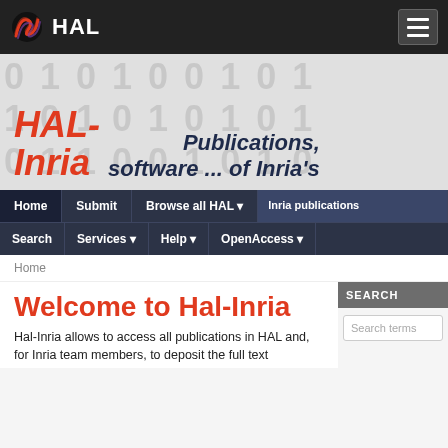HAL
[Figure (screenshot): HAL-Inria website hero banner with binary digits background showing 'HAL-Inria' in red/dark blue italic text and 'Publications, software ... of Inria's' text]
Home | Submit | Browse all HAL | Inria publications | Search | Services | Help | OpenAccess
Home
Welcome to Hal-Inria
Hal-Inria allows to access all publications in HAL and, for Inria team members, to deposit the full text
SEARCH
Search terms